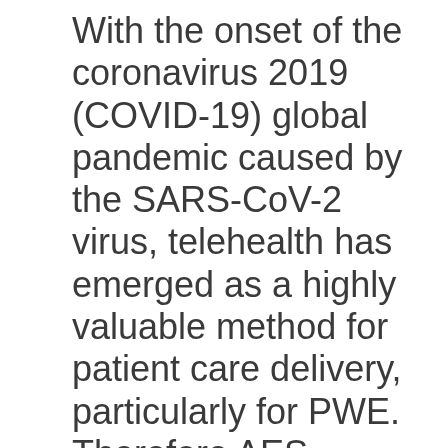With the onset of the coronavirus 2019 (COVID-19) global pandemic caused by the SARS-CoV-2 virus, telehealth has emerged as a highly valuable method for patient care delivery, particularly for PWE. Therefore AES supports continuation of telehealth as an option following the Public Health Emergency (PHE) and related policies that 1) address access to care for PWE, 2) provide equitable reimbursement for care providers, 3) reimburse